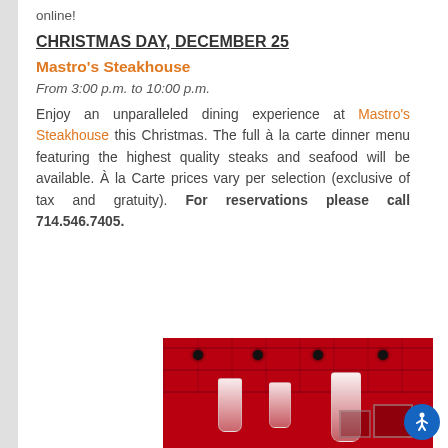online!
CHRISTMAS DAY, DECEMBER 25
Mastro's Steakhouse
From 3:00 p.m. to 10:00 p.m.
Enjoy an unparalleled dining experience at Mastro's Steakhouse this Christmas. The full à la carte dinner menu featuring the highest quality steaks and seafood will be available. À la Carte prices vary per selection (exclusive of tax and gratuity). For reservations please call 714.546.7405.
[Figure (photo): Interior photo of Mastro's Steakhouse showing a red-lit dining room with decorative ceiling and hanging pendant lights]